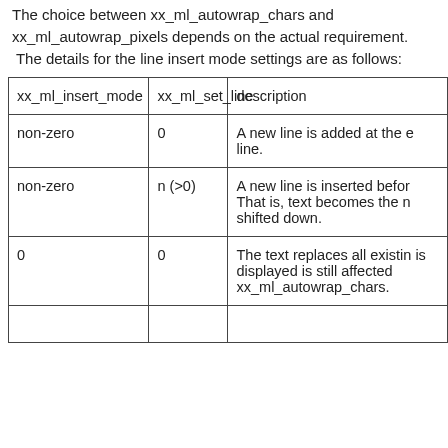The choice between xx_ml_autowrap_chars and xx_ml_autowrap_pixels depends on the actual requirement. The details for the line insert mode settings are as follows:
| xx_ml_insert_mode | xx_ml_set_line | description |
| --- | --- | --- |
| non-zero | 0 | A new line is added at the e line. |
| non-zero | n (>0) | A new line is inserted befor That is, text becomes the n shifted down. |
| 0 | 0 | The text replaces all existin is displayed is still affected xx_ml_autowrap_chars. |